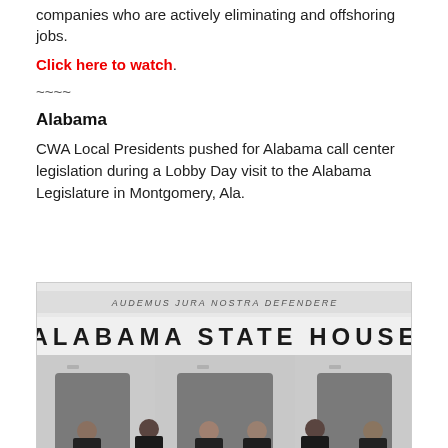companies who are actively eliminating and offshoring jobs.
Click here to watch.
~~~~
Alabama
CWA Local Presidents pushed for Alabama call center legislation during a Lobby Day visit to the Alabama Legislature in Montgomery, Ala.
[Figure (photo): Photo of CWA Local Presidents standing in front of the Alabama State House building in Montgomery, Alabama. The building facade shows 'AUDEMUS JURA NOSTRA DEFENDERE' inscription above and 'ALABAMA STATE HOUSE' in large letters. Six men in suits are standing in front of the entrance columns.]